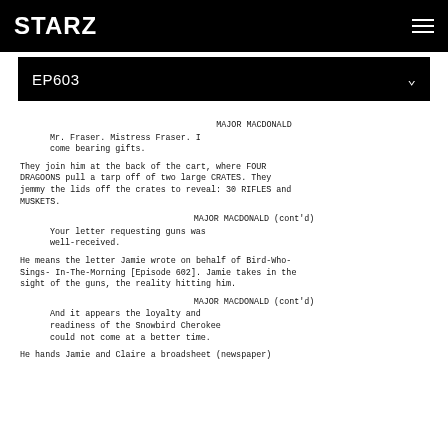STARZ
EP603
MAJOR MACDONALD
Mr. Fraser. Mistress Fraser. I come bearing gifts.
They join him at the back of the cart, where FOUR DRAGOONS pull a tarp off of two large CRATES. They jemmy the lids off the crates to reveal: 30 RIFLES and MUSKETS.
MAJOR MACDONALD (cont'd)
Your letter requesting guns was well-received.
He means the letter Jamie wrote on behalf of Bird-Who-Sings- In-The-Morning [Episode 602]. Jamie takes in the sight of the guns, the reality hitting him.
MAJOR MACDONALD (cont'd)
And it appears the loyalty and readiness of the Snowbird Cherokee could not come at a better time.
He hands Jamie and Claire a broadsheet (newspaper)